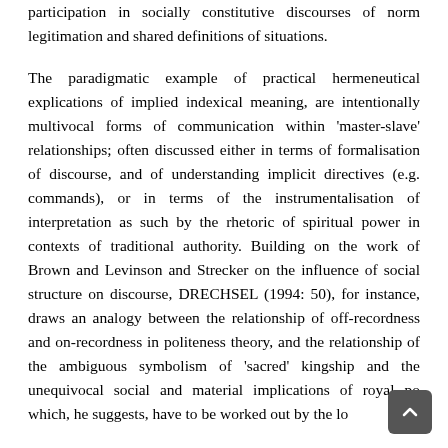participation in socially constitutive discourses of norm legitimation and shared definitions of situations.
The paradigmatic example of practical hermeneutical explications of implied indexical meaning, are intentionally multivocal forms of communication within 'master-slave' relationships; often discussed either in terms of formalisation of discourse, and of understanding implicit directives (e.g. commands), or in terms of the instrumentalisation of interpretation as such by the rhetoric of spiritual power in contexts of traditional authority. Building on the work of Brown and Levinson and Strecker on the influence of social structure on discourse, DRECHSEL (1994: 50), for instance, draws an analogy between the relationship of off-recordness and on-recordness in politeness theory, and the relationship of the ambiguous symbolism of 'sacred' kingship and the unequivocal social and material implications of royal po which, he suggests, have to be worked out by the lo